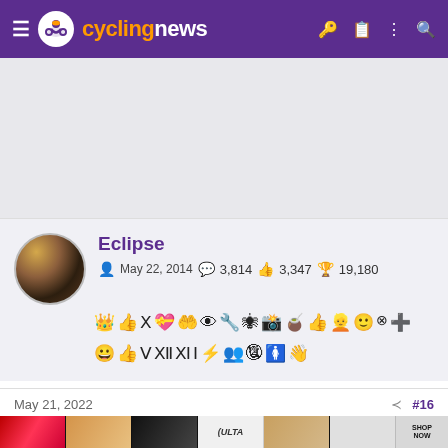cyclingnews
[Figure (other): Advertisement area, light gray background]
Eclipse
May 22, 2014   3,814   3,347   19,180
[Figure (other): User achievement badges and icons, two rows]
May 21, 2022   #16
[Figure (other): ULTA beauty advertisement banner with makeup imagery and SHOP NOW text]